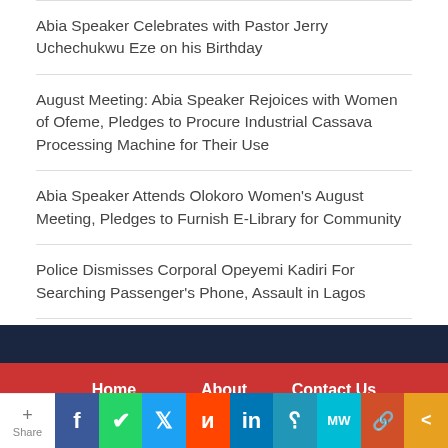Abia Speaker Celebrates with Pastor Jerry Uchechukwu Eze on his Birthday
August Meeting: Abia Speaker Rejoices with Women of Ofeme, Pledges to Procure Industrial Cassava Processing Machine for Their Use
Abia Speaker Attends Olokoro Women's August Meeting, Pledges to Furnish E-Library for Community
Police Dismisses Corporal Opeyemi Kadiri For Searching Passenger's Phone, Assault in Lagos
Home   About   Contact Us